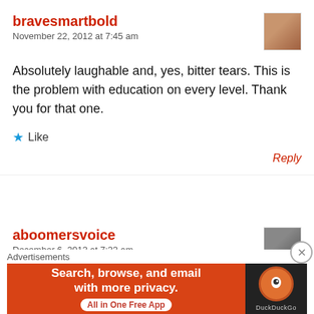bravesmartbold
November 22, 2012 at 7:45 am
Absolutely laughable and, yes, bitter tears. This is the problem with education on every level. Thank you for that one.
Like
Reply
aboomersvoice
December 6, 2012 at 7:22 am
Advertisements
[Figure (screenshot): DuckDuckGo advertisement banner: 'Search, browse, and email with more privacy. All in One Free App' with DuckDuckGo logo on dark background]